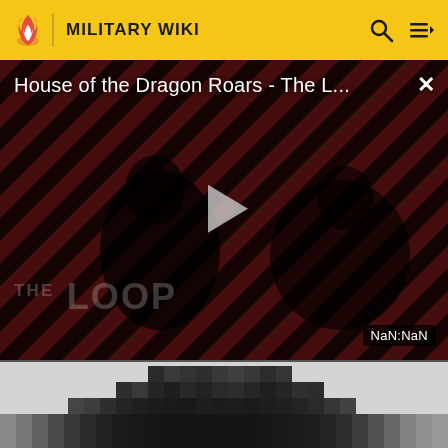MILITARY WIKI
[Figure (screenshot): Video player showing 'House of the Dragon Roars - The L...' with diagonal red/dark stripe background, two figures visible, play button in center, THE LOOP branding, NaN:NaN timestamp, and close X button]
[Figure (photo): Pixelated/blurred bottom portion of an image with dark blocky shapes on light gray background]